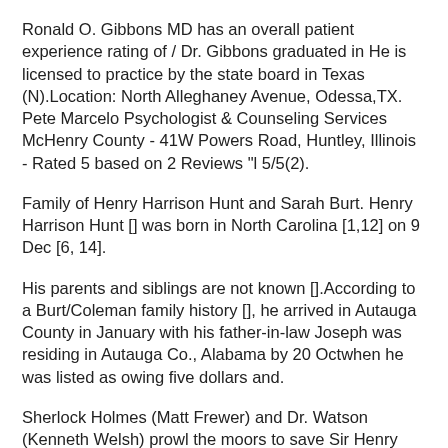Ronald O. Gibbons MD has an overall patient experience rating of / Dr. Gibbons graduated in He is licensed to practice by the state board in Texas (N).Location: North Alleghaney Avenue, Odessa,TX. Pete Marcelo Psychologist & Counseling Services McHenry County - 41W Powers Road, Huntley, Illinois - Rated 5 based on 2 Reviews "l 5/5(2).
Family of Henry Harrison Hunt and Sarah Burt. Henry Harrison Hunt [] was born in North Carolina [1,12] on 9 Dec [6, 14].
His parents and siblings are not known [].According to a Burt/Coleman family history [], he arrived in Autauga County in January with his father-in-law Joseph was residing in Autauga Co., Alabama by 20 Octwhen he was listed as owing five dollars and.
Sherlock Holmes (Matt Frewer) and Dr. Watson (Kenneth Welsh) prowl the moors to save Sir Henry (Jason London) from his family's killer-dog or: Rodney Gibbons. 6) Dr. William O'Neill, is the director of the Center for Structural Heart Disease at Henry Ford Hospital.